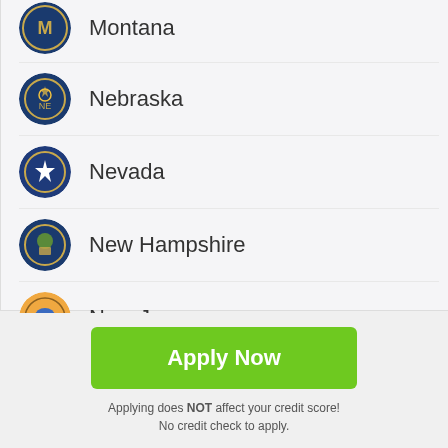Montana
Nebraska
Nevada
New Hampshire
New Jersey
New Mexico
[Figure (illustration): Scroll-to-top arrow button (dark grey rounded square with white upward arrow)]
Apply Now
Applying does NOT affect your credit score!
No credit check to apply.